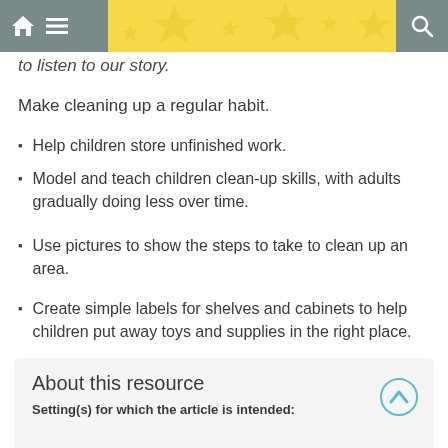[navigation bar with home, menu, and search icons]
to listen to our story.
Make cleaning up a regular habit.
Help children store unfinished work.
Model and teach children clean-up skills, with adults gradually doing less over time.
Use pictures to show the steps to take to clean up an area.
Create simple labels for shelves and cabinets to help children put away toys and supplies in the right place.
About this resource
Setting(s) for which the article is intended: